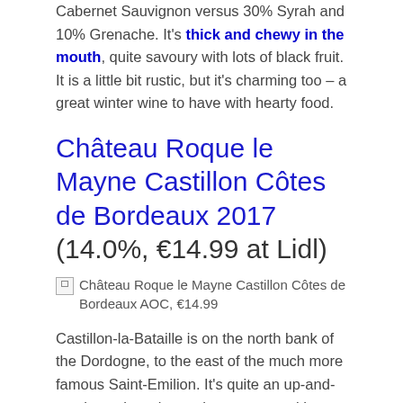Cabernet Sauvignon versus 30% Syrah and 10% Grenache. It's thick and chewy in the mouth, quite savoury with lots of black fruit. It is a little bit rustic, but it's charming too – a great winter wine to have with hearty food.
Château Roque le Mayne Castillon Côtes de Bordeaux 2017 (14.0%, €14.99 at Lidl)
[Figure (photo): Broken image placeholder for Château Roque le Mayne Castillon Côtes de Bordeaux AOC, €14.99]
Castillon-la-Bataille is on the north bank of the Dordogne, to the east of the much more famous Saint-Emilion. It's quite an up-and-coming sub-region at the moment, with quality rising all the time. The blend is 80% Merlot, 15% Cabernet